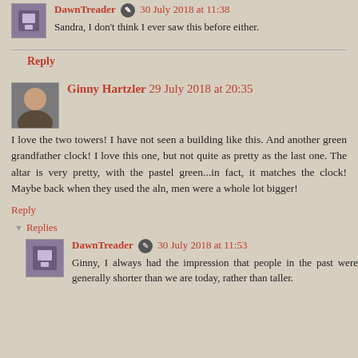DawnTreader 30 July 2018 at 11:38 — Sandra, I don't think I ever saw this before either.
Reply
Ginny Hartzler 29 July 2018 at 20:35
I love the two towers! I have not seen a building like this. And another green grandfather clock! I love this one, but not quite as pretty as the last one. The altar is very pretty, with the pastel green...in fact, it matches the clock! Maybe back when they used the aln, men were a whole lot bigger!
Reply
Replies
DawnTreader 30 July 2018 at 11:53
Ginny, I always had the impression that people in the past were generally shorter than we are today, rather than taller.